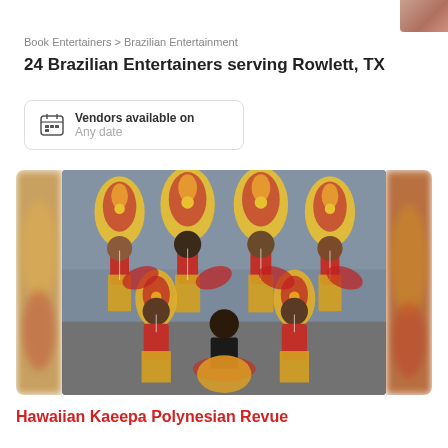Book Entertainers > Brazilian Entertainment
24 Brazilian Entertainers serving Rowlett, TX
Vendors available on
Any date
[Figure (photo): Group photo of Hawaiian/Polynesian performers wearing elaborate yellow and red feathered headdresses and grass skirts in carnival costumes, posed as a group of seven dancers.]
Hawaiian Kaeepa Polynesian Revue